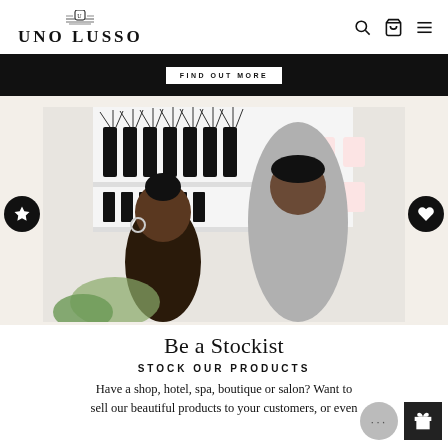UNO LUSSO
[Figure (screenshot): Black banner with FIND OUT MORE button in white]
[Figure (photo): Two people viewed from behind standing in a luxury home fragrance retail store with reed diffusers and candles on white shelves]
Be a Stockist
STOCK OUR PRODUCTS
Have a shop, hotel, spa, boutique or salon? Want to sell our beautiful products to your customers, or even